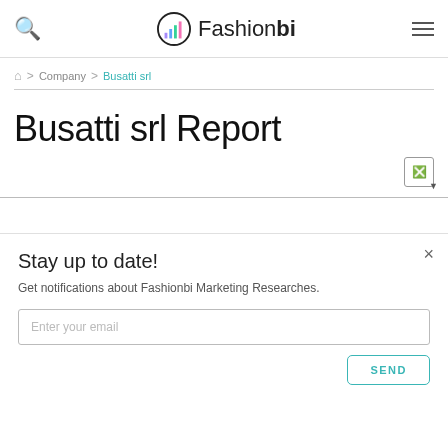Fashionbi
Company > Busatti srl
Busatti srl Report
Stay up to date!
Get notifications about Fashionbi Marketing Researches.
Enter your email
SEND